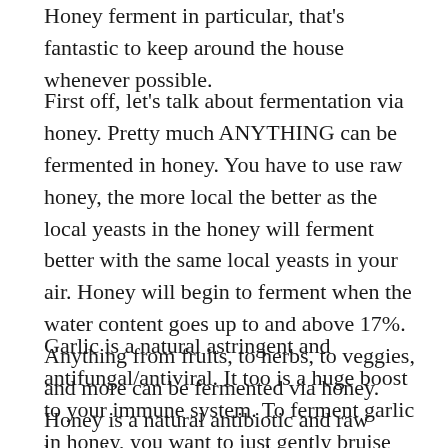Honey ferment in particular, that's fantastic to keep around the house whenever possible.
First off, let's talk about fermentation via honey. Pretty much ANYTHING can be fermented in honey. You have to use raw honey, the more local the better as the local yeasts in the honey will ferment better with the same local yeasts in your air. Honey will begin to ferment when the water content goes up to and above 17%. Anything from fruits, to herbs, to veggies, and more can be fermented via honey. Honey is a natural antibiotic and raw honey is a great immune boost.
Garlic is a natural astringent and antifungal/antiviral. It too is a huge boost to your immune system. To ferment garlic in honey, you want to just gently bruise (yes, gently bruise, I said that, it is possible) the garlic cloves. There is no ratio